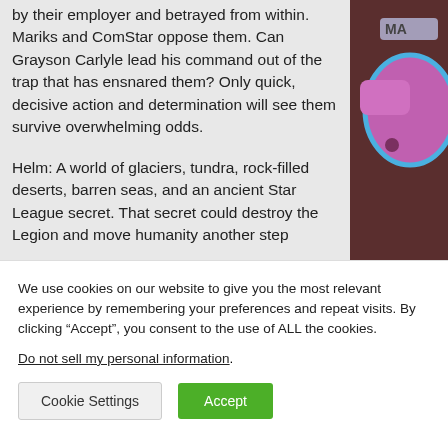by their employer and betrayed from within. Mariks and ComStar oppose them. Can Grayson Carlyle lead his command out of the trap that has ensnared them? Only quick, decisive action and determination will see them survive overwhelming odds.

Helm: A world of glaciers, tundra, rock-filled deserts, barren seas, and an ancient Star League secret. That secret could destroy the Legion and move humanity another step
[Figure (photo): Partial photo of a toy/figure with pink/purple coloring and blue accents, partially cut off on right side, with dark reddish background. Text 'MA' visible on a label.]
We use cookies on our website to give you the most relevant experience by remembering your preferences and repeat visits. By clicking “Accept”, you consent to the use of ALL the cookies.
Do not sell my personal information.